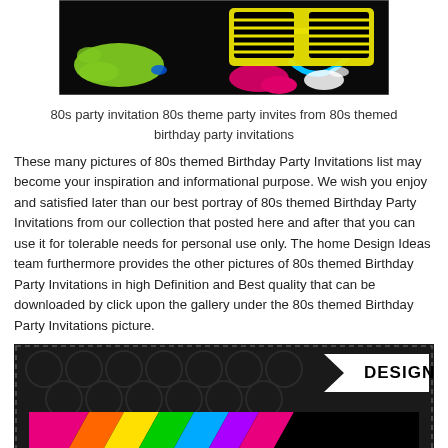[Figure (photo): 80s themed party invitation image with neon paint splatter, yellow shutter shades, and colorful splashes on a black background]
80s party invitation 80s theme party invites from 80s themed birthday party invitations
These many pictures of 80s themed Birthday Party Invitations list may become your inspiration and informational purpose. We wish you enjoy and satisfied later than our best portray of 80s themed Birthday Party Invitations from our collection that posted here and after that you can use it for tolerable needs for personal use only. The home Design Ideas team furthermore provides the other pictures of 80s themed Birthday Party Invitations in high Definition and Best quality that can be downloaded by click upon the gallery under the 80s themed Birthday Party Invitations picture.
[Figure (photo): 80s themed birthday party invitation design featuring DESIGN#339 label, black background with circle pattern, and colorful diagonal stripes at the bottom]